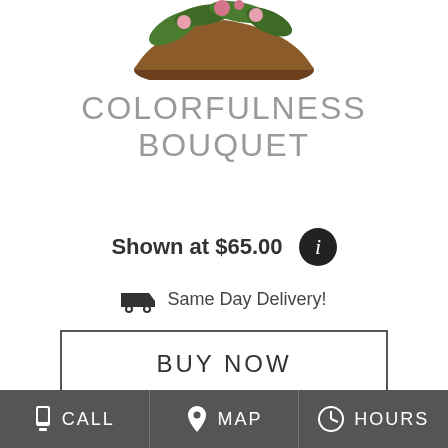[Figure (photo): Top portion of a floral arrangement in a basket with green and pink flowers, partially cropped at top]
COLORFULNESS BOUQUET
Shown at $65.00
Same Day Delivery!
BUY NOW
[Figure (photo): Green houseplant with broad striped leaves in a pot, partially cropped]
CALL  MAP  HOURS